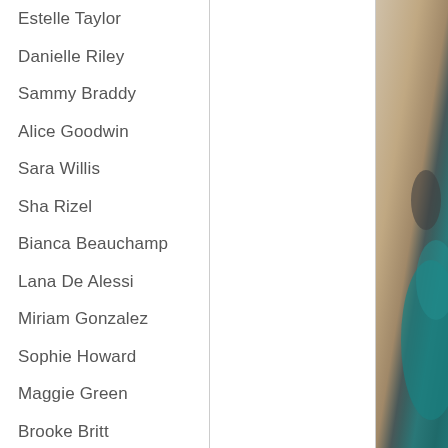Estelle Taylor
Danielle Riley
Sammy Braddy
Alice Goodwin
Sara Willis
Sha Rizel
Bianca Beauchamp
Lana De Alessi
Miriam Gonzalez
Sophie Howard
Maggie Green
Brooke Britt
Lana Kendrick
Tessa Fowler
Micky Bells
Sarah Genova
Antonella Kahllo
[Figure (photo): Partial view of a person in a teal/turquoise garment against a light beige/tan background, cropped tightly showing body and clothing detail.]